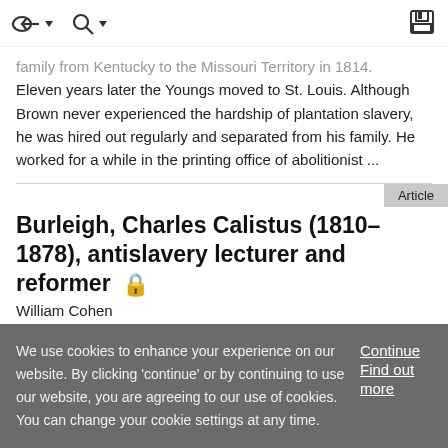toolbar with navigation icons
family from Kentucky to the Missouri Territory in 1814. Eleven years later the Youngs moved to St. Louis. Although Brown never experienced the hardship of plantation slavery, he was hired out regularly and separated from his family. He worked for a while in the printing office of abolitionist ...
Article
Burleigh, Charles Calistus (1810–1878), antislavery lecturer and reformer 🔒
William Cohen
We use cookies to enhance your experience on our website. By clicking 'continue' or by continuing to use our website, you are agreeing to our use of cookies. You can change your cookie settings at any time.